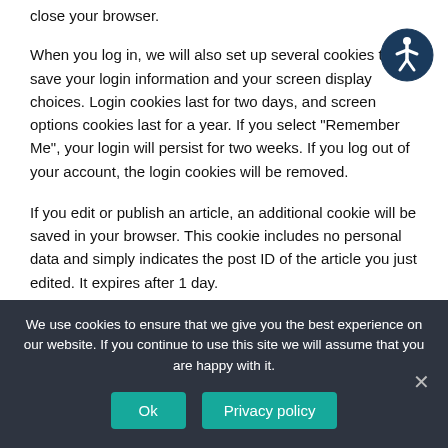close your browser.
When you log in, we will also set up several cookies to save your login information and your screen display choices. Login cookies last for two days, and screen options cookies last for a year. If you select “Remember Me”, your login will persist for two weeks. If you log out of your account, the login cookies will be removed.
[Figure (illustration): Circular accessibility icon: dark blue circle with white stylized person figure (wheelchair accessibility symbol)]
If you edit or publish an article, an additional cookie will be saved in your browser. This cookie includes no personal data and simply indicates the post ID of the article you just edited. It expires after 1 day.
We use cookies to ensure that we give you the best experience on our website. If you continue to use this site we will assume that you are happy with it.